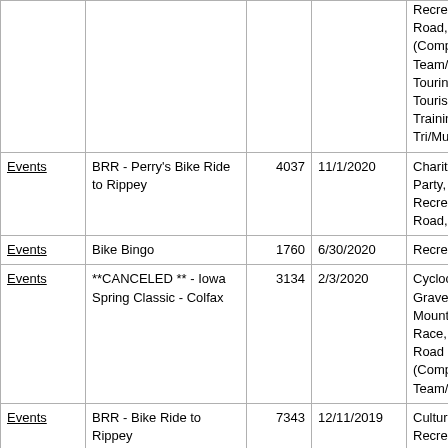| Type | Name | ID | Date | Tags |
| --- | --- | --- | --- | --- |
| Events | (continuation) |  |  | Recreation, Road, Road (Competitive), Team/Club, Touring, Tourism, Trails, Training/Fitness, Tri/Multi-Sport |
| Events | BRR - Perry's Bike Ride to Rippey | 4037 | 11/1/2020 | Charity, Culture, Party, Recreation, Road, Tourism |
| Events | Bike Bingo | 1760 | 6/30/2020 | Recreation |
| Events | **CANCELED ** - Iowa Spring Classic - Colfax | 3134 | 2/3/2020 | Cyclocross, Gravel, Mountain Bike, Race, Road, Road (Competitive), Team/Club |
| Events | BRR - Bike Ride to Rippey | 7343 | 12/11/2019 | Culture, Party, Recreation, Tourism |
| Events | Iowa Trails Summit | 7177 | 8/27/2019 | Advocacy, Charity, Commuting, Culture, Destination, Education, Other Recreation, |